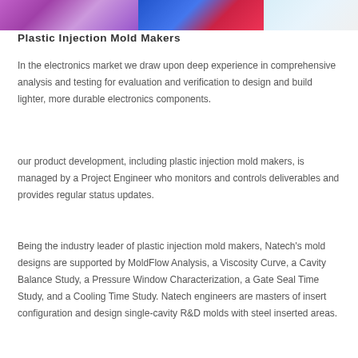[Figure (photo): Colorful banner image strip showing purple abstract/biological imagery on the left, blue and red industrial or electronic components in the center, and white/light gray cotton or fluffy material on the right.]
Plastic Injection Mold Makers
In the electronics market we draw upon deep experience in comprehensive analysis and testing for evaluation and verification to design and build lighter, more durable electronics components.
our product development, including plastic injection mold makers, is managed by a Project Engineer who monitors and controls deliverables and provides regular status updates.
Being the industry leader of plastic injection mold makers, Natech's mold designs are supported by MoldFlow Analysis, a Viscosity Curve, a Cavity Balance Study, a Pressure Window Characterization, a Gate Seal Time Study, and a Cooling Time Study. Natech engineers are masters of insert configuration and design single-cavity R&D molds with steel inserted areas.